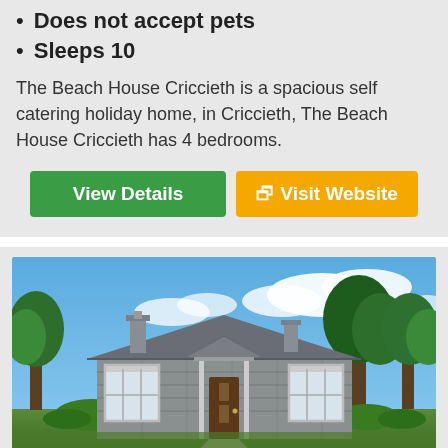Does not accept pets
Sleeps 10
The Beach House Criccieth is a spacious self catering holiday home, in Criccieth, The Beach House Criccieth has 4 bedrooms.
[Figure (photo): Exterior photo of a stone cottage holiday home with slate roof, two chimneys, bay windows, white trim, surrounded by trees under a blue sky with clouds]